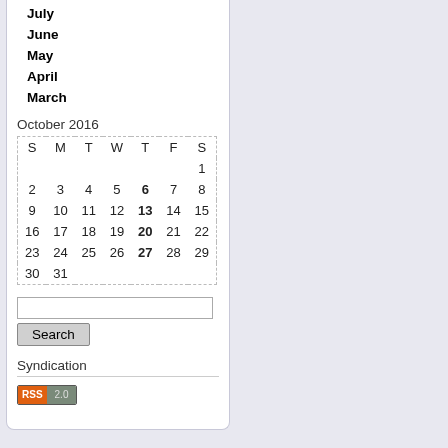July
June
May
April
March
October 2016
| S | M | T | W | T | F | S |
| --- | --- | --- | --- | --- | --- | --- |
|  |  |  |  |  |  | 1 |
| 2 | 3 | 4 | 5 | 6 | 7 | 8 |
| 9 | 10 | 11 | 12 | 13 | 14 | 15 |
| 16 | 17 | 18 | 19 | 20 | 21 | 22 |
| 23 | 24 | 25 | 26 | 27 | 28 | 29 |
| 30 | 31 |  |  |  |  |  |
Search input box
Search
Syndication
[Figure (other): RSS 2.0 badge]